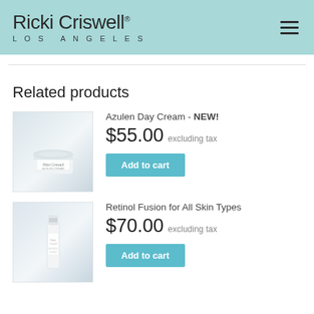Ricki Criswell® LOS ANGELES
Related products
[Figure (photo): Photo of a white cream jar product (Azulen Day Cream) on a light background]
Azulen Day Cream - NEW!
$55.00 excluding tax
Add to cart
[Figure (photo): Photo of a white serum bottle product (Retinol Fusion for All Skin Types) on a light background]
Retinol Fusion for All Skin Types
$70.00 excluding tax
Add to cart